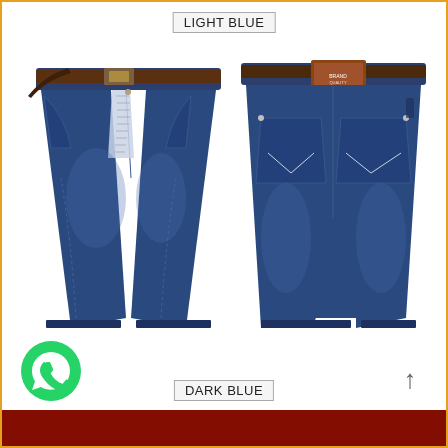LIGHT BLUE
[Figure (photo): Front and back view of dark blue denim jean shorts with brown belt, showing front pockets and zipper on left, and back pockets with brand label on right]
DARK BLUE
[Figure (logo): WhatsApp icon - green circle with white phone handset]
[Figure (other): Up arrow navigation button]
[Figure (photo): Partial bottom strip showing additional product image]